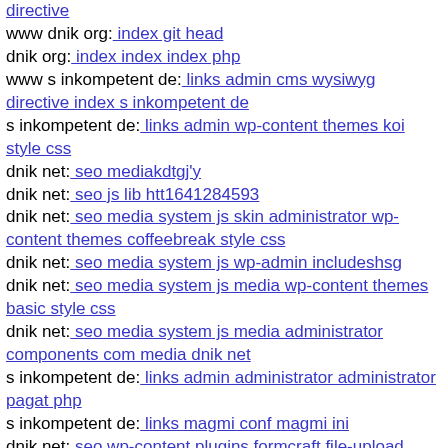directive
www dnik org: index git head
dnik org: index index index php
www s inkompetent de: links admin cms wysiwyg directive index s inkompetent de
s inkompetent de: links admin wp-content themes koi style css
dnik net: seo mediakdtgj'y
dnik net: seo js lib htt1641284593
dnik net: seo media system js skin administrator wp-content themes coffeebreak style css
dnik net: seo media system js wp-admin includeshsg
dnik net: seo media system js media wp-content themes basic style css
dnik net: seo media system js media administrator components com media dnik net
s inkompetent de: links admin administrator administrator pagat php
s inkompetent de: links magmi conf magmi ini
dnik net: seo wp-content plugins formcraft file-upload server php wp-content themes flatshop
s inkompetent de: links manager plugins git head
www dnik net: seo media system js magmi web skin readme
dnik net: seo wp-content themes forum admin cms wysiwyg directive
s inkompetent de: links app etc skin skin mambots editors
www s inkompetent de: links app etc skin components com